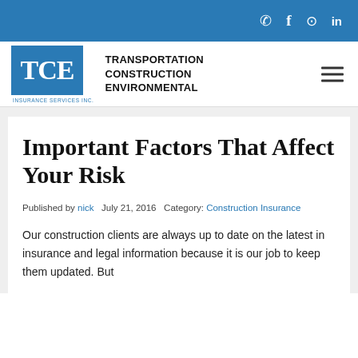TCE Insurance Services Inc. — Transportation Construction Environmental
Important Factors That Affect Your Risk
Published by nick   July 21, 2016   Category: Construction Insurance
Our construction clients are always up to date on the latest in insurance and legal information because it is our job to keep them updated. But